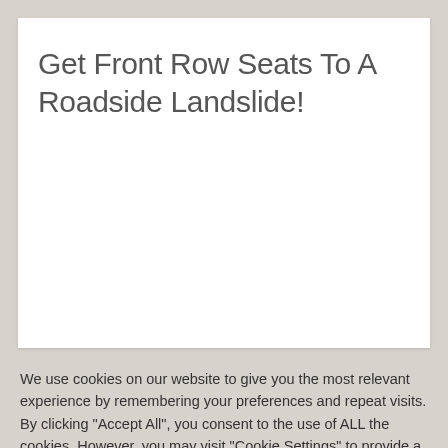Get Front Row Seats To A Roadside Landslide!
We use cookies on our website to give you the most relevant experience by remembering your preferences and repeat visits. By clicking "Accept All", you consent to the use of ALL the cookies. However, you may visit "Cookie Settings" to provide a controlled consent.
Cookie Settings | Accept All